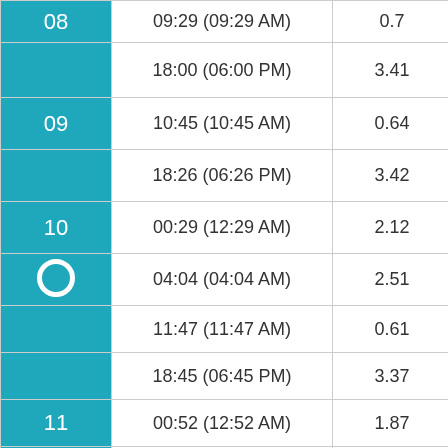| Day | Time | Value |
| --- | --- | --- |
| 08 | 09:29 (09:29 AM) | 0.7 |
|  | 18:00 (06:00 PM) | 3.41 |
| 09 | 10:45 (10:45 AM) | 0.64 |
|  | 18:26 (06:26 PM) | 3.42 |
| 10 | 00:29 (12:29 AM) | 2.12 |
| ○ | 04:04 (04:04 AM) | 2.51 |
|  | 11:47 (11:47 AM) | 0.61 |
|  | 18:45 (06:45 PM) | 3.37 |
| 11 | 00:52 (12:52 AM) | 1.87 |
|  | 05:06 (05:06 AM) | 2.73 |